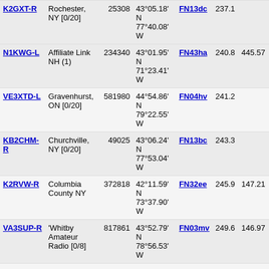| Callsign | Location | Node | Coordinates | Grid | Dist | Freq |
| --- | --- | --- | --- | --- | --- | --- |
| K2GXT-R | Rochester, NY [0/20] | 25308 | 43°05.18' N 77°40.08' W | FN13dc | 237.1 |  |
| N1KWG-L | Affiliate Link NH (1) | 234340 | 43°01.95' N 71°23.41' W | FN43ha | 240.8 | 445.57 |
| VE3XTD-L | Gravenhurst, ON [0/20] | 581980 | 44°54.86' N 79°22.55' W | FN04hv | 241.2 |  |
| KB2CHM-R | Churchville, NY [0/20] | 49025 | 43°06.24' N 77°53.04' W | FN13bc | 243.3 |  |
| K2RVW-R | Columbia County NY | 372818 | 42°11.59' N 73°37.90' W | FN32ee | 245.9 | 147.21 |
| VA3SUP-R | 'Whitby Amateur Radio [0/8] | 817861 | 43°52.79' N 78°56.53' W | FN03mv | 249.6 | 146.97 |
| KC4QLP-L | 29.500mhz *KC4QLP* | 56704 | 42°05.23' N 74°59.71' W | FN22mc | 250.1 | 29.50 |
| W2HYP-R | Avon, NY [0/10] | 680959 | 42°52.02' N 77°46.27' W | FN12cu | 252.2 |  |
| K1CA-R | Derry, NH | 655317 | 42°53.17' N 71°16.23' W | FN42iv | 252.5 | 146.85 |
| KC1ETT-L | Wells Beach, ME [0/20] | 759461 | 43°18.06' N 70°34.10' W | FN43rh | 256.2 |  |